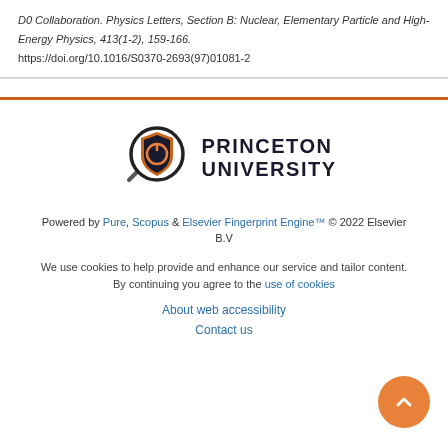D0 Collaboration. Physics Letters, Section B: Nuclear, Elementary Particle and High-Energy Physics, 413(1-2), 159-166. https://doi.org/10.1016/S0370-2693(97)01081-2
[Figure (logo): Princeton University logo with magnifying glass icon and text PRINCETON UNIVERSITY]
Powered by Pure, Scopus & Elsevier Fingerprint Engine™ © 2022 Elsevier B.V
We use cookies to help provide and enhance our service and tailor content. By continuing you agree to the use of cookies
About web accessibility
Contact us